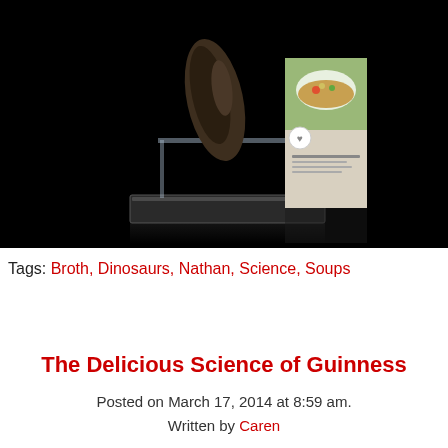[Figure (photo): A dark studio photograph showing a mounted fossil (possibly a dinosaur tooth or claw) on a display pedestal, next to a soup broth box packaging, against a black background.]
Tags: Broth, Dinosaurs, Nathan, Science, Soups
The Delicious Science of Guinness
Posted on March 17, 2014 at 8:59 am.
Written by Caren